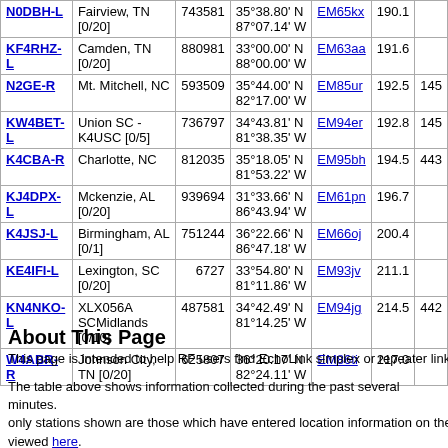| Callsign | Location | Node | Coordinates | Grid | Dist |  |
| --- | --- | --- | --- | --- | --- | --- |
| N0DBH-L | Fairview, TN [0/20] | 743581 | 35°38.80' N 87°07.14' W | EM65kx | 190.1 |  |
| KF4RHZ-L | Camden, TN [0/20] | 880981 | 33°00.00' N 88°00.00' W | EM63aa | 191.6 |  |
| N2GE-R | Mt. Mitchell, NC | 593509 | 35°44.00' N 82°17.00' W | EM85ur | 192.5 | 145 |
| KW4BET-L | Union SC - K4USC [0/5] | 736797 | 34°43.81' N 81°38.35' W | EM94er | 192.8 | 145 |
| K4CBA-R | Charlotte, NC | 812035 | 35°18.05' N 81°53.22' W | EM95bh | 194.5 | 443 |
| KJ4DPX-L | Mckenzie, AL [0/20] | 939694 | 31°33.66' N 86°43.94' W | EM61pn | 196.7 |  |
| K4JSJ-L | Birmingham, AL [0/1] | 751244 | 36°22.66' N 86°47.18' W | EM66oj | 200.4 |  |
| KE4IFI-L | Lexington, SC [0/20] | 6727 | 33°54.80' N 81°11.86' W | EM93jv | 211.1 |  |
| KN4NKO-L | XLX056A SCMidlands [0/10] | 487581 | 34°42.49' N 81°14.25' W | EM94jg | 214.5 | 442 |
| W4ABR-R | Johnson City, TN [0/20] | 625807 | 36°20.17' N 82°24.11' W | EM86ti | 217.0 |  |
About This Page
This page is intended to help RF users find EchoLink simplex or repeater link
The table above shows information collected during the past several minutes. only stations shown are those which have entered location information on the viewed here.